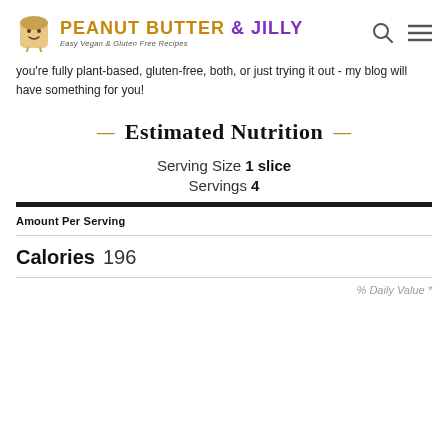PEANUT BUTTER & JILLY — Easy Vegan & Gluten Free Recipes
you're fully plant-based, gluten-free, both, or just trying it out - my blog will have something for you!
Estimated Nutrition
Serving Size 1 slice
Servings 4
Amount Per Serving
Calories 196
% Daily Value *